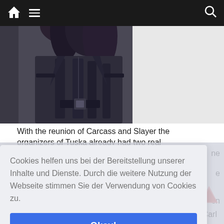Navigation bar with home, menu, and search icons
[Figure (photo): Close-up photo of a person wearing a dark leather jacket with long dark hair, buckle detail at waist]
With the reunion of Carcass and Slayer the organizers of Tuska already had two real
Cookies helfen uns bei der Bereitstellung unserer Inhalte und Dienste. Durch die weitere Nutzung der Webseite stimmen Sie der Verwendung von Cookies zu.
Okay!
Privacy & Cookies Policy